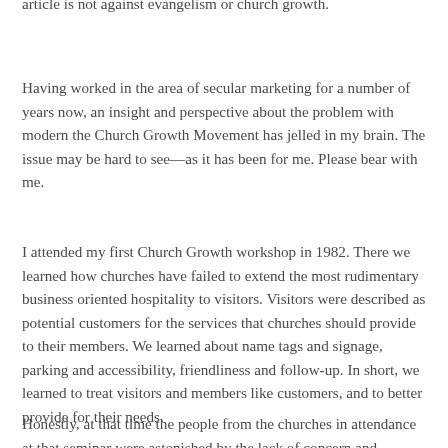article is not against evangelism or church growth.
Having worked in the area of secular marketing for a number of years now, an insight and perspective about the problem with modern the Church Growth Movement has jelled in my brain. The issue may be hard to see—as it has been for me. Please bear with me.
I attended my first Church Growth workshop in 1982. There we learned how churches have failed to extend the most rudimentary business oriented hospitality to visitors. Visitors were described as potential customers for the services that churches should provide to their members. We learned about name tags and signage, parking and accessibility, friendliness and follow-up. In short, we learned to treat visitors and members like customers, and to better provide for their needs.
Honestly, at that time the people from the churches in attendance at that seminar were astonished by the lack of concern and attention to the needs of people in worship, which is often the